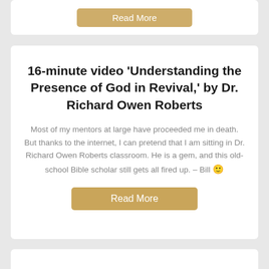[Figure (screenshot): Partially visible card with a tan/gold 'Read More' button at the top of the page]
16-minute video ‘Understanding the Presence of God in Revival,’ by Dr. Richard Owen Roberts
Most of my mentors at large have proceeded me in death. But thanks to the internet, I can pretend that I am sitting in Dr. Richard Owen Roberts classroom. He is a gem, and this old-school Bible scholar still gets all fired up. – Bill 🙂
Read More
Partially visible bottom card with bold heading text